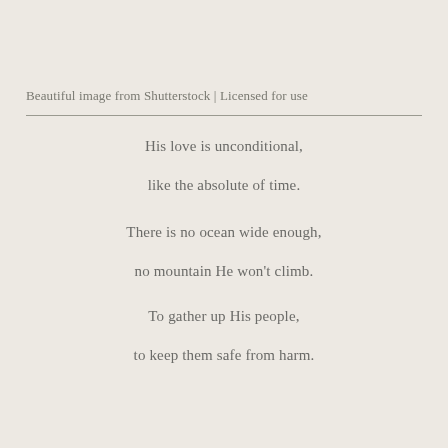Beautiful image from Shutterstock | Licensed for use
His love is unconditional,
like the absolute of time.
There is no ocean wide enough,
no mountain He won't climb.
To gather up His people,
to keep them safe from harm.